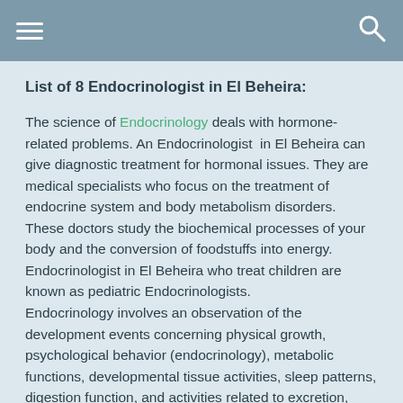List of 8 Endocrinologist in El Beheira:
List of 8 Endocrinologist in El Beheira:
The science of Endocrinology deals with hormone-related problems. An Endocrinologist in El Beheira can give diagnostic treatment for hormonal issues. They are medical specialists who focus on the treatment of endocrine system and body metabolism disorders.
These doctors study the biochemical processes of your body and the conversion of foodstuffs into energy. Endocrinologist in El Beheira who treat children are known as pediatric Endocrinologists.
Endocrinology involves an observation of the development events concerning physical growth, psychological behavior (endocrinology), metabolic functions, developmental tissue activities, sleep patterns, digestion function, and activities related to excretion, reproduction, and lactation.
It also investigates the hormonal activities related to sensory